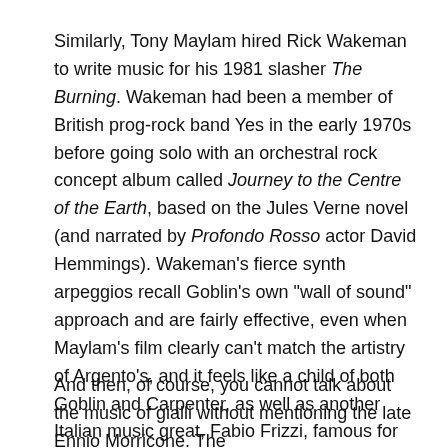Similarly, Tony Maylam hired Rick Wakeman to write music for his 1981 slasher The Burning. Wakeman had been a member of British prog-rock band Yes in the early 1970s before going solo with an orchestral rock concept album called Journey to the Centre of the Earth, based on the Jules Verne novel (and narrated by Profondo Rosso actor David Hemmings). Wakeman's fierce synth arpeggios recall Goblin's own "wall of sound" approach and are fairly effective, even when Maylam's film clearly can't match the artistry of Argento's, and it feels like a child of both Goblin and Carpenter, as well as another Italian music great, Fabio Frizzi, famous for scoring films for Lucio Fulci.
And then, of course, you cannot talk about the music of gialli without mentioning the late Ennio Morricone. The